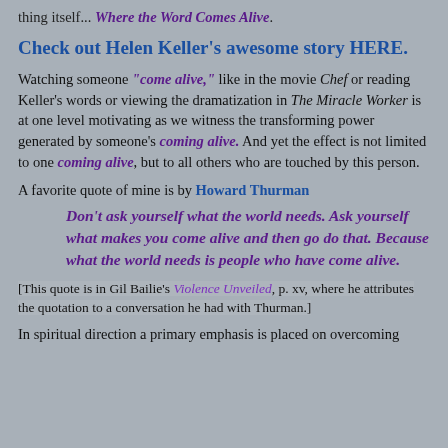thing itself... Where the Word Comes Alive.
Check out Helen Keller's awesome story HERE.
Watching someone "come alive," like in the movie Chef or reading Keller's words or viewing the dramatization in The Miracle Worker is at one level motivating as we witness the transforming power generated by someone's coming alive. And yet the effect is not limited to one coming alive, but to all others who are touched by this person.
A favorite quote of mine is by Howard Thurman
Don't ask yourself what the world needs. Ask yourself what makes you come alive and then go do that. Because what the world needs is people who have come alive.
[This quote is in Gil Bailie's Violence Unveiled, p. xv, where he attributes the quotation to a conversation he had with Thurman.]
In spiritual direction a primary emphasis is placed on overcoming